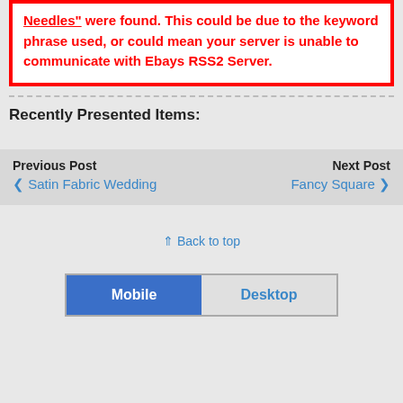"Needles" were found. This could be due to the keyword phrase used, or could mean your server is unable to communicate with Ebays RSS2 Server.
Recently Presented Items:
Previous Post
❮ Satin Fabric Wedding
Next Post
Fancy Square ❯
⇑ Back to top
Mobile | Desktop